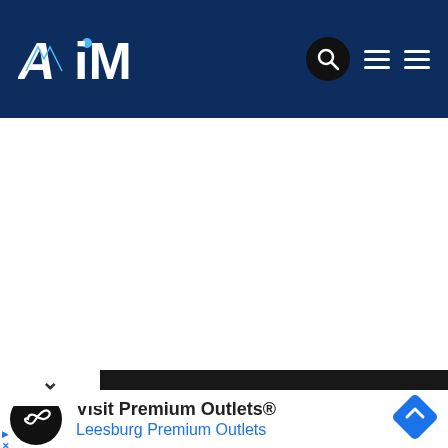[Figure (logo): AiM logo on dark blue navigation bar with search icon and hamburger menu icons]
NEXT
[Figure (screenshot): White empty content area below navigation]
Visit Premium Outlets®
Leesburg Premium Outlets